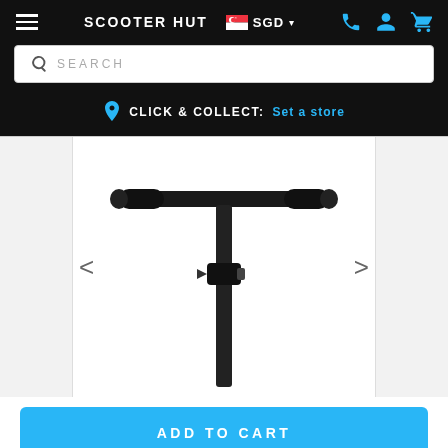SCOOTER HUT  SGD
SEARCH
CLICK & COLLECT:  Set a store
[Figure (photo): Close-up photo of a black scooter handlebar/stem with T-bar grips and adjustment clamp, branded I-GLIDE, on white background]
ADD TO CART